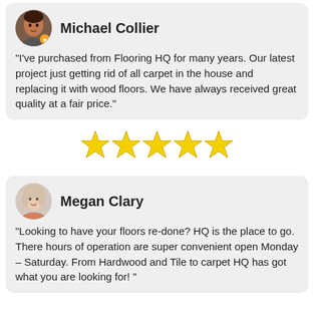[Figure (photo): Profile photo of Michael Collier with orange badge]
Michael Collier
"I've purchased from Flooring HQ for many years. Our latest project just getting rid of all carpet in the house and replacing it with wood floors. We have always received great quality at a fair price."
[Figure (other): 5 yellow star rating]
[Figure (photo): Profile photo of Megan Clary]
Megan Clary
"Looking to have your floors re-done? HQ is the place to go. There hours of operation are super convenient open Monday – Saturday. From Hardwood and Tile to carpet HQ has got what you are looking for! "